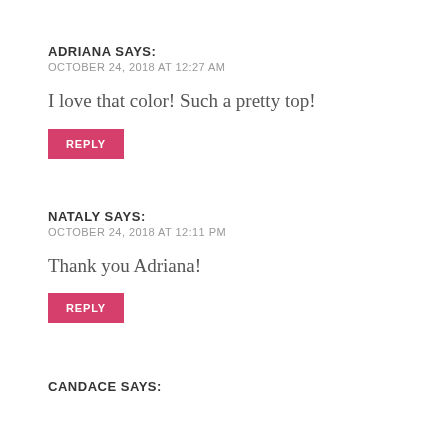ADRIANA SAYS:
OCTOBER 24, 2018 AT 12:27 AM
I love that color! Such a pretty top!
REPLY
NATALY SAYS:
OCTOBER 24, 2018 AT 12:11 PM
Thank you Adriana!
REPLY
CANDACE SAYS: